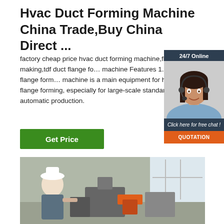Hvac Duct Forming Machine China Trade,Buy China Direct ...
factory cheap price hvac duct forming machine,flange making,tdf duct flange forming machine Features 1. tdf duct flange forming machine is a main equipment for hvac duct flange forming, especially for large-scale standardized and automatic production.
[Figure (other): Chat widget with woman wearing headset, 24/7 Online label, Click here for free chat text, and QUOTATION button]
Get Price
[Figure (photo): Factory floor photo showing worker and HVAC duct forming machinery]